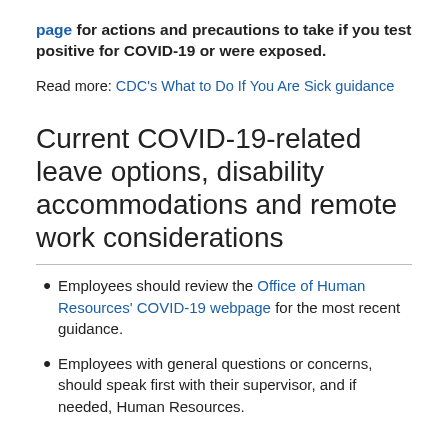page for actions and precautions to take if you test positive for COVID-19 or were exposed.
Read more: CDC's What to Do If You Are Sick guidance
Current COVID-19-related leave options, disability accommodations and remote work considerations
Employees should review the Office of Human Resources' COVID-19 webpage for the most recent guidance.
Employees with general questions or concerns, should speak first with their supervisor, and if needed, Human Resources.